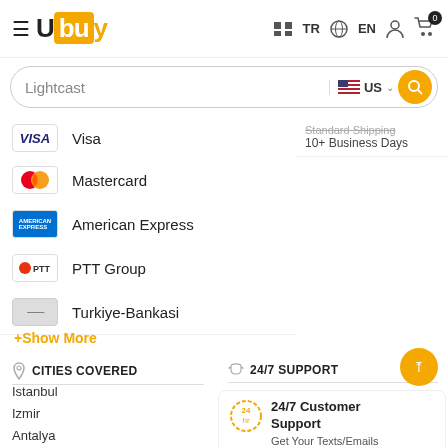Ubuy — TR EN — Cart 0
Lightcast — US search bar
Visa
Standard Shipping / 10+ Business Days
Mastercard
American Express
PTT Group
Turkiye-Bankasi
+Show More
CITIES COVERED
Istanbul
Izmir
Antalya
24/7 SUPPORT
24/7 Customer Support
Get Your Texts/Emails